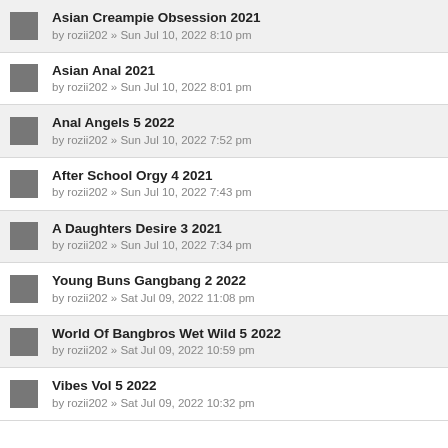Asian Creampie Obsession 2021
by rozii202 » Sun Jul 10, 2022 8:10 pm
Asian Anal 2021
by rozii202 » Sun Jul 10, 2022 8:01 pm
Anal Angels 5 2022
by rozii202 » Sun Jul 10, 2022 7:52 pm
After School Orgy 4 2021
by rozii202 » Sun Jul 10, 2022 7:43 pm
A Daughters Desire 3 2021
by rozii202 » Sun Jul 10, 2022 7:34 pm
Young Buns Gangbang 2 2022
by rozii202 » Sat Jul 09, 2022 11:08 pm
World Of Bangbros Wet Wild 5 2022
by rozii202 » Sat Jul 09, 2022 10:59 pm
Vibes Vol 5 2022
by rozii202 » Sat Jul 09, 2022 10:32 pm